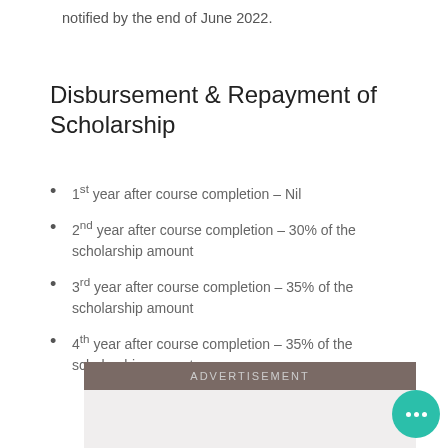notified by the end of June 2022.
Disbursement & Repayment of Scholarship
1st year after course completion – Nil
2nd year after course completion – 30% of the scholarship amount
3rd year after course completion – 35% of the scholarship amount
4th year after course completion – 35% of the scholarship amount
ADVERTISEMENT